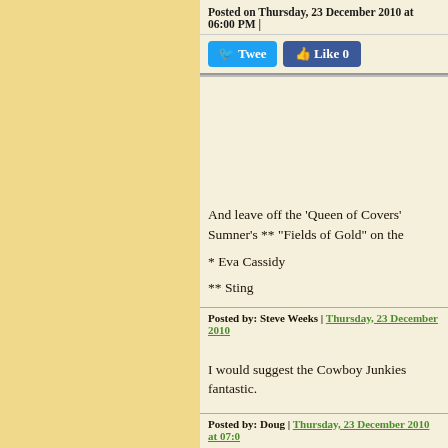Posted on Thursday, 23 December 2010 at 06:00 PM |
[Figure (screenshot): Twitter Tweet button and Facebook Like 0 button]
And leave off the 'Queen of Covers' Sumner's ** "Fields of Gold" on the
* Eva Cassidy
** Sting
Posted by: Steve Weeks | Thursday, 23 December 2010
I would suggest the Cowboy Junkies fantastic.
Posted by: Doug | Thursday, 23 December 2010 at 07:0
"Crossroads" by Cream, from Rober